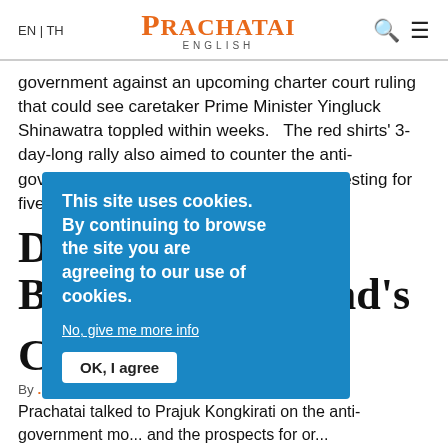EN | TH  PRACHATAI ENGLISH
government against an upcoming charter court ruling that could see caretaker Prime Minister Yingluck Shinawatra toppled within weeks.   The red shirts' 3-day-long rally also aimed to counter the anti-government protesters who have been protesting for five months.
[Figure (screenshot): Cookie consent banner overlay with blue background reading 'This site uses cookies. By continuing to browse the site you are agreeing to our use of cookies.' with 'No, give me more info' link and 'OK, I agree' button.]
D...rajak B...hailand's way
C
By ...a Ngamsom | 5 Apr 2014
Prachatai talked to Prajuk Kongkirati on the anti-government mo... and the prospects for or...